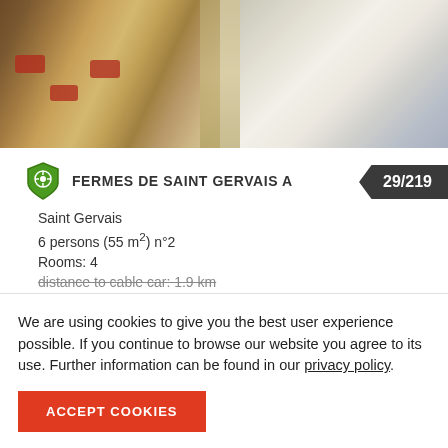[Figure (photo): Interior photo of a holiday apartment showing a dining table with chairs on the left side and a bright living area with sofa visible on the right]
FERMES DE SAINT GERVAIS A
29/219
Saint Gervais
6 persons (55 m²) n°2
Rooms: 4
distance to cable car: 1.9 km
We are using cookies to give you the best user experience possible. If you continue to browse our website you agree to its use. Further information can be found in our privacy policy.
ACCEPT COOKIES